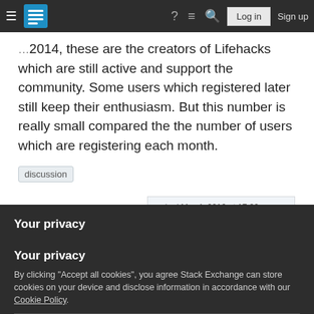Stack Exchange navigation bar with hamburger menu, logo, help, chat, search icons, Log in and Sign up buttons
2014, these are the creators of Lifehacks which are still active and support the community. Some users which registered later still keep their enthusiasm. But this number is really small compared the the number of users which are registering each month.
discussion
Share   Follow
asked Mar 4, 2016 at 17:29
vladiz
5,693 ●7 ●48
Your privacy
By clicking "Accept all cookies", you agree Stack Exchange can store cookies on your device and disclose information in accordance with our Cookie Policy.
Accept all cookies   Customize settings
Mar 5, 2016 at 16:44